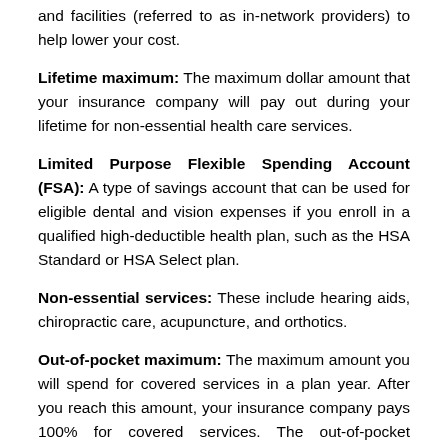and facilities (referred to as in-network providers) to help lower your cost.
Lifetime maximum: The maximum dollar amount that your insurance company will pay out during your lifetime for non-essential health care services.
Limited Purpose Flexible Spending Account (FSA): A type of savings account that can be used for eligible dental and vision expenses if you enroll in a qualified high-deductible health plan, such as the HSA Standard or HSA Select plan.
Non-essential services: These include hearing aids, chiropractic care, acupuncture, and orthotics.
Out-of-pocket maximum: The maximum amount you will spend for covered services in a plan year. After you reach this amount, your insurance company pays 100% for covered services. The out-of-pocket maximum includes the deductible amount, which covers out-of-pocket expenses as well.